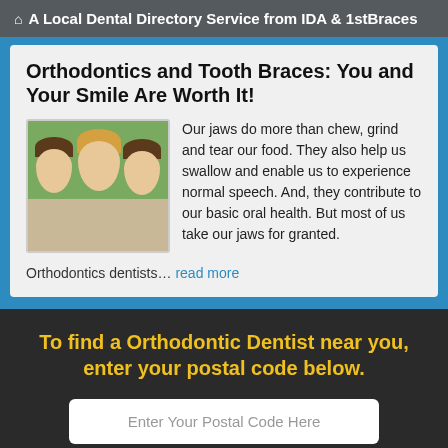🏠 A Local Dental Directory Service from IDA & 1stBraces
Orthodontics and Tooth Braces: You and Your Smile Are Worth It!
[Figure (photo): Three smiling girls outdoors, green background]
Our jaws do more than chew, grind and tear our food. They also help us swallow and enable us to experience normal speech. And, they contribute to our basic oral health. But most of us take our jaws for granted.
Orthodontics dentists... read more
To find a Orthodontic Dentist near you, enter your postal code below.
Enter Your Postal Code Here
Click Here To Find a Dentist